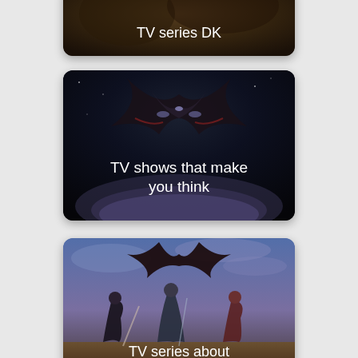[Figure (screenshot): Partially visible card with dark background and text 'TV series DK']
[Figure (screenshot): Card showing a dark sci-fi/fantasy creature or spaceship over a planet, with text 'TV shows that make you think']
[Figure (screenshot): Card showing animated characters (warriors/heroes) in a dramatic scene with a winged demon, with text 'TV series about demons']